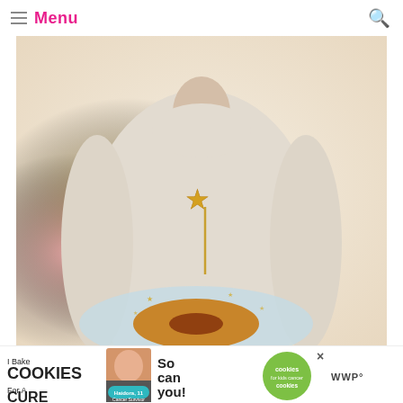Menu
[Figure (photo): A person in a light gray top holding a white plate decorated with gold stars, with a glazed donut on the plate topped with a gold star on a stick. Blurred pink and yellow balloons in the background.]
[Figure (photo): Advertisement banner: 'I Bake COOKIES For A CURE' with an image of a girl named Haidora, age 11, cancer survivor, and a green 'cookies for kids cancer' badge, with text 'So can you!' and a close button.]